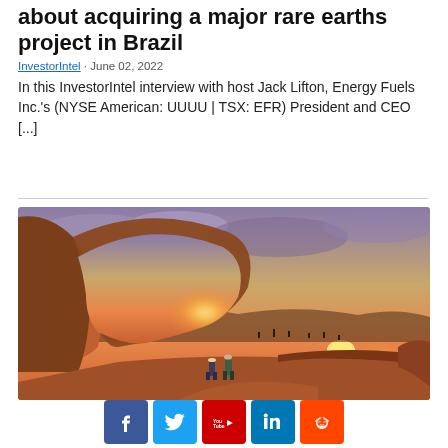about acquiring a major rare earths project in Brazil
InvestorIntel · June 02, 2022
In this InvestorIntel interview with host Jack Lifton, Energy Fuels Inc.'s (NYSE American: UUUU | TSX: EFR) President and CEO [...]
[Figure (photo): Two people standing under a large natural rock arch at sunset, with orange-red desert terrain and purple-orange sky in background]
[Figure (infographic): Social media sharing buttons: Facebook, Twitter, YouTube, LinkedIn, Reddit]